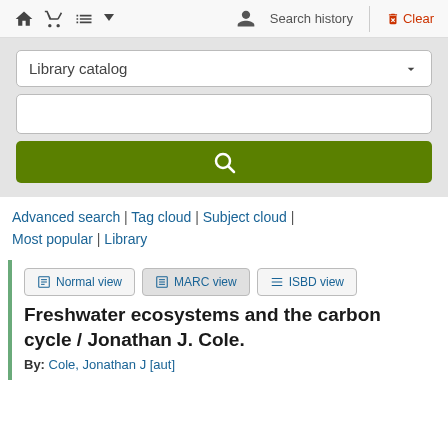Home | Cart | List | User | Search history | Clear
[Figure (screenshot): Library catalog search interface with dropdown selector showing 'Library catalog', an empty search input box, and a green search button with magnifying glass icon]
Advanced search | Tag cloud | Subject cloud | Most popular | Library
Normal view | MARC view | ISBD view
Freshwater ecosystems and the carbon cycle / Jonathan J. Cole.
By: Cole, Jonathan J [aut]